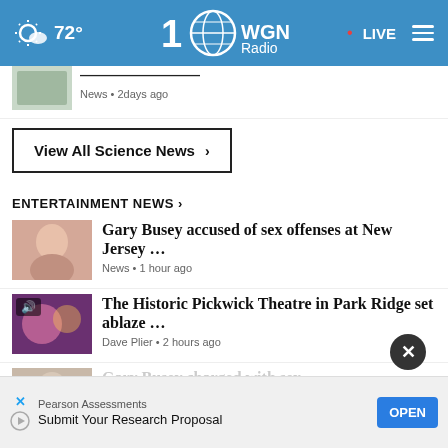72° WGN Radio • LIVE
[Figure (screenshot): Partially visible news item thumbnail with text cut off at top, News • 2 days ago]
News • 2 days ago
View All Science News ›
ENTERTAINMENT NEWS ›
Gary Busey accused of sex offenses at New Jersey ... News • 1 hour ago
The Historic Pickwick Theatre in Park Ridge set ablaze ... Dave Plier • 2 hours ago
Gary Busey charged with sex...
Pearson Assessments Submit Your Research Proposal OPEN